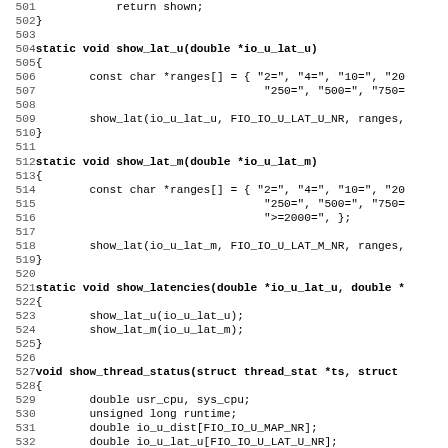[Figure (other): Source code listing showing C functions: show_lat_u, show_lat_m, show_latencies, and beginning of show_thread_status. Line numbers 501-532 visible.]